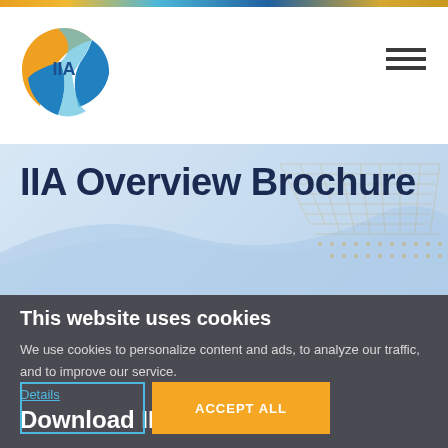[Figure (logo): IIA logo — circular design with orange outer arc and blue inner swirl, with 'IIA' text in blue in the center]
[Figure (illustration): Hamburger menu icon (three horizontal lines) in dark gray]
IIA Overview Brochure
This website uses cookies
We use cookies to personalize content and ads, to analyze our traffic, and to improve our service.
Details
Download IIA
ACCEPT ALL